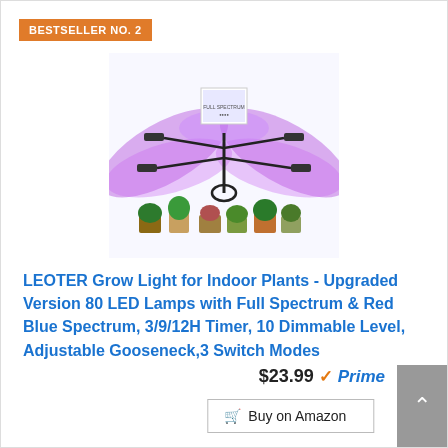BESTSELLER NO. 2
[Figure (photo): LEOTER grow light product photo showing a 4-arm LED grow light with purple/blue/pink light beams illuminating various potted plants below. A small product thumbnail image is shown in the upper center of the photo.]
LEOTER Grow Light for Indoor Plants - Upgraded Version 80 LED Lamps with Full Spectrum & Red Blue Spectrum, 3/9/12H Timer, 10 Dimmable Level, Adjustable Gooseneck,3 Switch Modes
$23.99 Prime
Buy on Amazon